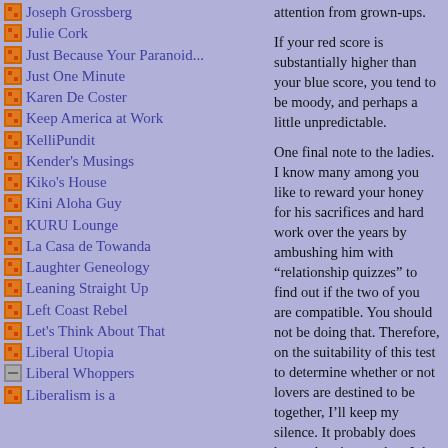Joseph Grossberg
Julie Cork
Just Because Your Paranoid...
Just One Minute
Karen De Coster
Keep America at Work
KelliPundit
Kender's Musings
Kiko's House
Kini Aloha Guy
KURU Lounge
La Casa de Towanda
Laughter Geneology
Leaning Straight Up
Left Coast Rebel
Let's Think About That
Liberal Utopia
Liberal Whoppers
Liberalism is a
attention from grown-ups.

If your red score is substantially higher than your blue score, you tend to be moody, and perhaps a little unpredictable.

One final note to the ladies. I know many among you like to reward your honey for his sacrifices and hard work over the years by ambushing him with “relationship quizzes” to find out if the two of you are compatible. You should not be doing that. Therefore, on the suitability of this test to determine whether or not lovers are destined to be together, I’ll keep my silence. It probably does have a bearing on that; I do have a few ideas about it. But I’ll be keeping them to myself. Really, if you want to do something together with him just bring him a beer and rub his feet.